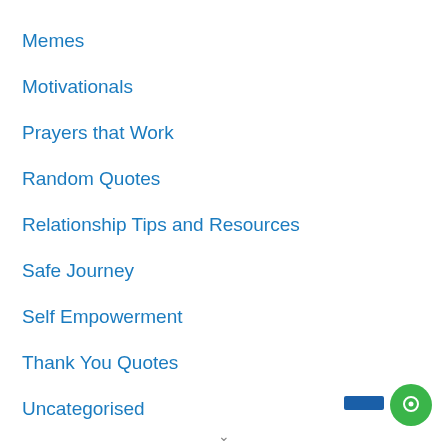Memes
Motivationals
Prayers that Work
Random Quotes
Relationship Tips and Resources
Safe Journey
Self Empowerment
Thank You Quotes
Uncategorised
Valentine
WhatsApp Status